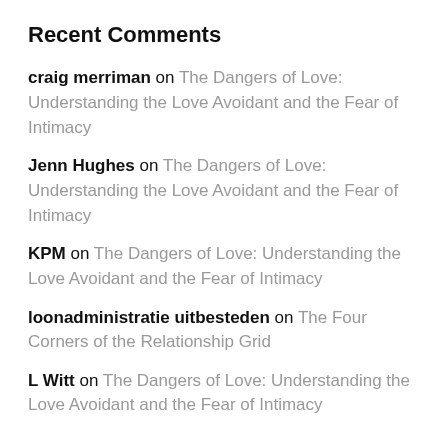Recent Comments
craig merriman on The Dangers of Love: Understanding the Love Avoidant and the Fear of Intimacy
Jenn Hughes on The Dangers of Love: Understanding the Love Avoidant and the Fear of Intimacy
KPM on The Dangers of Love: Understanding the Love Avoidant and the Fear of Intimacy
loonadministratie uitbesteden on The Four Corners of the Relationship Grid
L Witt on The Dangers of Love: Understanding the Love Avoidant and the Fear of Intimacy